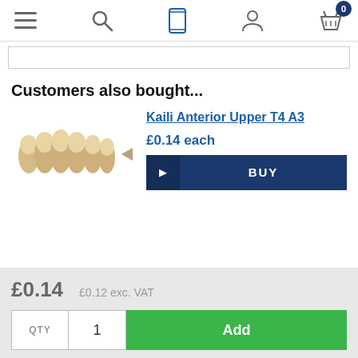Navigation bar with menu, search, mobile, account, and basket icons
Customers also bought...
[Figure (photo): Product image of Kaili Anterior Upper T4 A3 dental teeth set, showing six upper anterior teeth in beige/ivory colour with an arrow indicator]
Kaili Anterior Upper T4 A3
£0.14 each
BUY
£0.14
£0.12 exc. VAT
QTY  1  Add